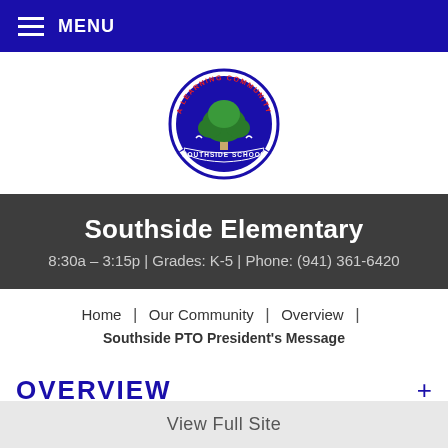MENU
[Figure (logo): Southside School circular logo with a tree and text 'A Learning Community' around the top and 'Southside School' on a banner at the bottom]
Southside Elementary
8:30a – 3:15p | Grades: K-5 | Phone: (941) 361-6420
Home | Our Community | Overview | Southside PTO President's Message
OVERVIEW
View Full Site